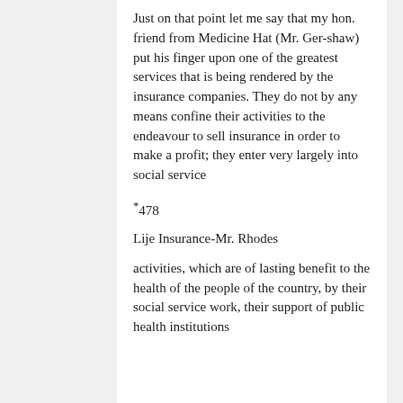Just on that point let me say that my hon. friend from Medicine Hat (Mr. Ger-shaw) put his finger upon one of the greatest services that is being rendered by the insurance companies. They do not by any means confine their activities to the endeavour to sell insurance in order to make a profit; they enter very largely into social service
*478
Lije Insurance-Mr. Rhodes
activities, which are of lasting benefit to the health of the people of the country, by their social service work, their support of public health institutions